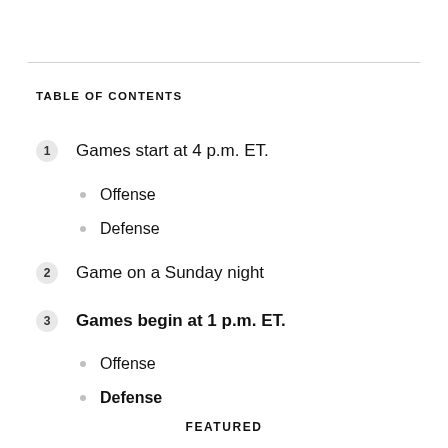TABLE OF CONTENTS
1  Games start at 4 p.m. ET.
Offense
Defense
2  Game on a Sunday night
3  Games begin at 1 p.m. ET.
Offense
Defense
FEATURED